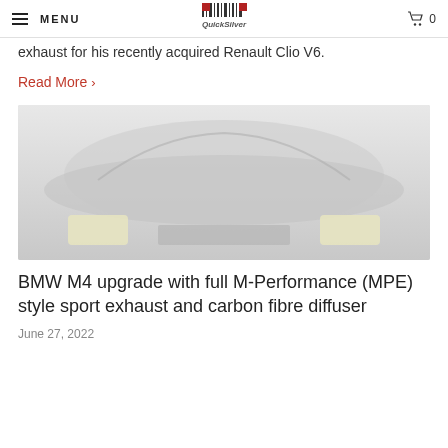MENU | QuickSilver | 0
exhaust for his recently acquired Renault Clio V6.
Read More >
[Figure (photo): Blurred rear view of a BMW M4 car showing exhaust and diffuser area with yellowish tips visible at bottom corners]
BMW M4 upgrade with full M-Performance (MPE) style sport exhaust and carbon fibre diffuser
June 27, 2022